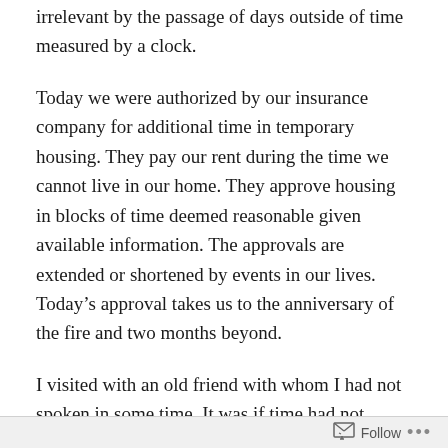irrelevant by the passage of days outside of time measured by a clock.
Today we were authorized by our insurance company for additional time in temporary housing. They pay our rent during the time we cannot live in our home. They approve housing in blocks of time deemed reasonable given available information. The approvals are extended or shortened by events in our lives. Today's approval takes us to the anniversary of the fire and two months beyond.
I visited with an old friend with whom I had not spoken in some time. It was if time had not passed.
The fire and the first time my friend and I meet seem like distant memories yet with a little kindling are fresh and
Follow